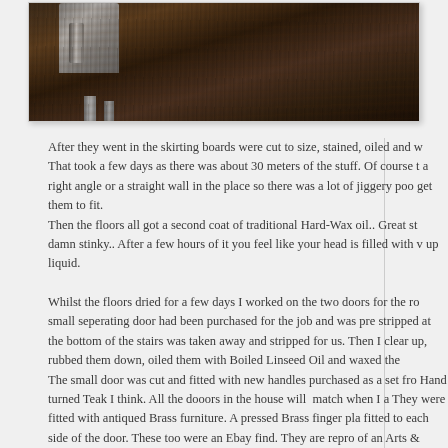[Figure (photo): Photo of dark hardwood floor with ornate metal furniture leg visible, showing rich dark brown wood grain texture]
After they went in the skirting boards were cut to size, stained, oiled and w... That took a few days as there was about 30 meters of the stuff. Of course t... a right angle or a straight wall in the place so there was a lot of jiggery poo... get them to fit.
Then the floors all got a second coat of traditional Hard-Wax oil.. Great st... damn stinky.. After a few hours of it you feel like your head is filled with v... up liquid.

Whilst the floors dried for a few days I worked on the two doors for the ro... small seperating door had been purchased for the job and was pre stripped... at the bottom of the stairs was taken away and stripped for us. Then I clear... up, rubbed them down, oiled them with Boiled Linseed Oil and waxed the... The small door was cut and fitted with new handles purchased as a set fro... Hand turned Teak I think. All the dooors in the house will match when I a... They were fitted with antiqued Brass furniture. A pressed Brass finger pla... fitted to each side of the door. These too were an Ebay find. They are repro... of an Arts & Crafts Movement design. The polished Brass looks great with...